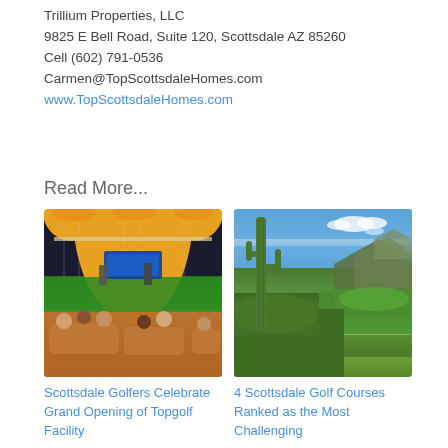Trillium Properties, LLC
9825 E Bell Road, Suite 120, Scottsdale AZ 85260
Cell (602) 791-0536
Carmen@TopScottsdaleHomes.com
www.TopScottsdaleHomes.com
Read More...
[Figure (photo): Indoor golf driving range facility with people seated watching golfers at illuminated bays, warm overhead lighting]
Scottsdale Golfers Celebrate Grand Opening of Topgolf Facility
[Figure (photo): Aerial view of Scottsdale Arizona desert landscape with saguaro cactus in foreground, green golf course and mountain in background under blue sky]
4 Scottsdale Golf Courses Ranked as the Most Challenging